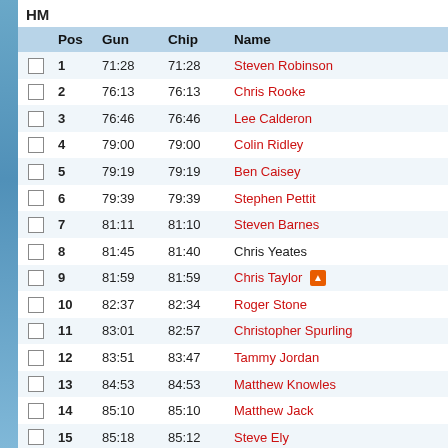HM
|  | Pos | Gun | Chip | Name |
| --- | --- | --- | --- | --- |
|  | 1 | 71:28 | 71:28 | Steven Robinson |
|  | 2 | 76:13 | 76:13 | Chris Rooke |
|  | 3 | 76:46 | 76:46 | Lee Calderon |
|  | 4 | 79:00 | 79:00 | Colin Ridley |
|  | 5 | 79:19 | 79:19 | Ben Caisey |
|  | 6 | 79:39 | 79:39 | Stephen Pettit |
|  | 7 | 81:11 | 81:10 | Steven Barnes |
|  | 8 | 81:45 | 81:40 | Chris Yeates |
|  | 9 | 81:59 | 81:59 | Chris Taylor |
|  | 10 | 82:37 | 82:34 | Roger Stone |
|  | 11 | 83:01 | 82:57 | Christopher Spurling |
|  | 12 | 83:51 | 83:47 | Tammy Jordan |
|  | 13 | 84:53 | 84:53 | Matthew Knowles |
|  | 14 | 85:10 | 85:10 | Matthew Jack |
|  | 15 | 85:18 | 85:12 | Steve Ely |
|  | 16 | 85:32 | 85:29 | Tom Owen |
|  | 17 | 85:38 | 85:26 | Henry Chancellor |